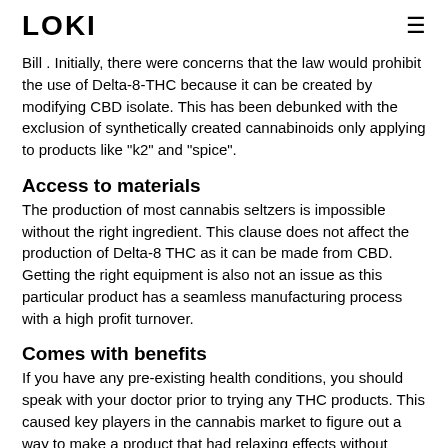LOKI
Bill . Initially, there were concerns that the law would prohibit the use of Delta-8-THC because it can be created by modifying CBD isolate. This has been debunked with the exclusion of synthetically created cannabinoids only applying to products like "k2" and "spice".
Access to materials
The production of most cannabis seltzers is impossible without the right ingredient. This clause does not affect the production of Delta-8 THC as it can be made from CBD. Getting the right equipment is also not an issue as this particular product has a seamless manufacturing process with a high profit turnover.
Comes with benefits
If you have any pre-existing health conditions, you should speak with your doctor prior to trying any THC products. This caused key players in the cannabis market to figure out a way to make a product that had relaxing effects without making the customers get high beyond desired levels. Delta-8 THC is the perfect solution with the right amount of sensation.